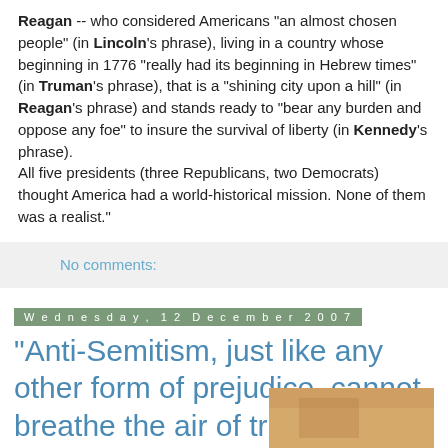Reagan -- who considered Americans "an almost chosen people" (in Lincoln's phrase), living in a country whose beginning in 1776 "really had its beginning in Hebrew times" (in Truman's phrase), that is a "shining city upon a hill" (in Reagan's phrase) and stands ready to "bear any burden and oppose any foe" to insure the survival of liberty (in Kennedy's phrase).
All five presidents (three Republicans, two Democrats) thought America had a world-historical mission. None of them was a realist."
No comments:
Wednesday, 12 December 2007
"Anti-Semitism, just like any other form of prejudice, cannot breathe the air of truth", Bernard Harrison
Extracts from an article in Jewish
[Figure (photo): Partial thumbnail image of a photo, showing warm tan/orange tones, positioned at bottom right]